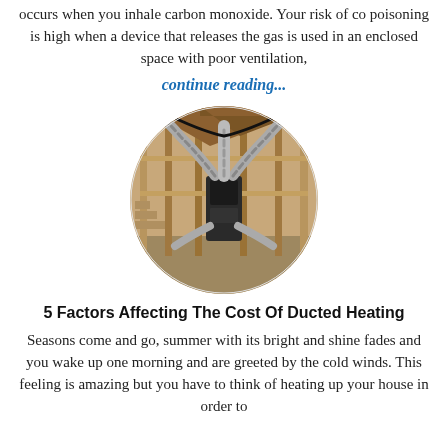occurs when you inhale carbon monoxide. Your risk of co poisoning is high when a device that releases the gas is used in an enclosed space with poor ventilation, continue reading...
[Figure (photo): Circular cropped photo showing HVAC ductwork installed in a house under construction, with silver flexible ducts branching from a central black unit, wooden framing visible throughout]
5 Factors Affecting The Cost Of Ducted Heating
Seasons come and go, summer with its bright and shine fades and you wake up one morning and are greeted by the cold winds. This feeling is amazing but you have to think of heating up your house in order to